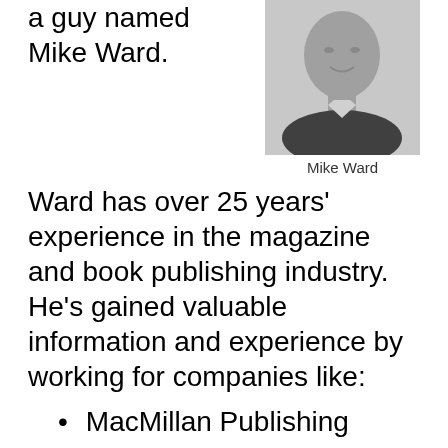a guy named Mike Ward.
[Figure (photo): Black and white portrait photo of Mike Ward, a middle-aged man smiling, wearing a dark jacket and collared shirt.]
Mike Ward
Ward has over 25 years' experience in the magazine and book publishing industry. He's gained valuable information and experience by working for companies like:
MacMillan Publishing
Rodale Press
Eagle Publishing
He was also the Editorial Director for an